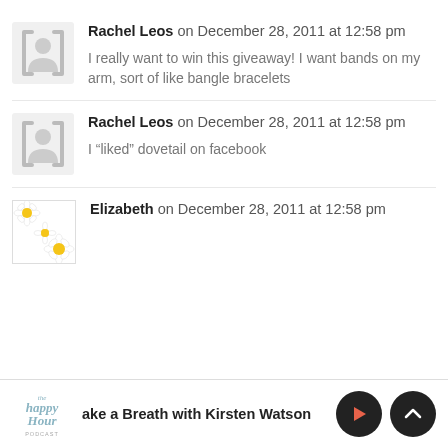Rachel Leos on December 28, 2011 at 12:58 pm
I really want to win this giveaway! I want bands on my arm, sort of like bangle bracelets
Rachel Leos on December 28, 2011 at 12:58 pm
I “liked” dovetail on facebook
Elizabeth on December 28, 2011 at 12:58 pm
ake a Breath with Kirsten Watson